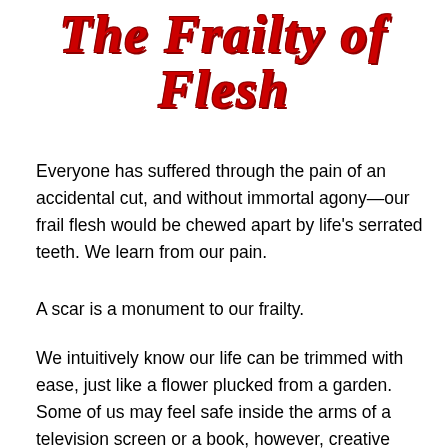The Frailty of Flesh
Everyone has suffered through the pain of an accidental cut, and without immortal agony—our frail flesh would be chewed apart by life's serrated teeth. We learn from our pain.
A scar is a monument to our frailty.
We intuitively know our life can be trimmed with ease, just like a flower plucked from a garden. Some of us may feel safe inside the arms of a television screen or a book, however, creative entertainment can never save us from primal sympathy which allows us to feel what they feel, whether it be the continual chew